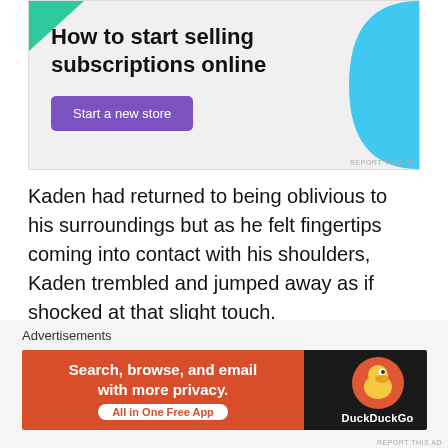[Figure (illustration): Advertisement banner for 'How to start selling subscriptions online' with green triangle top-left, cyan circular shape top-right, bold headline, and purple 'Start a new store' button on light gray background]
Kaden had returned to being oblivious to his surroundings but as he felt fingertips coming into contact with his shoulders, Kaden trembled and jumped away as if shocked at that slight touch.
Staring up at Daichi in horror, Kaden looked like his mind had been broken.
Advertisements
[Figure (illustration): DuckDuckGo advertisement banner: orange-red left section with text 'Search, browse, and email with more privacy. All in One Free App', dark right section with DuckDuckGo duck logo and brand name]